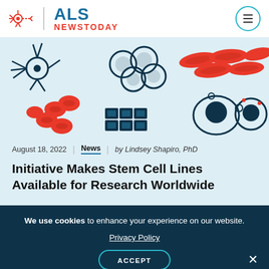ALS NEWS TODAY
[Figure (illustration): Colorful illustration of various cell types on a light blue background: red blood cells, neurons, epithelial cells, white blood cells, and other cell types depicted in red/orange and dark teal/navy colors.]
August 18, 2022 | News | by Lindsey Shapiro, PhD
Initiative Makes Stem Cell Lines Available for Research Worldwide
We use cookies to enhance your experience on our website. Privacy Policy ACCEPT